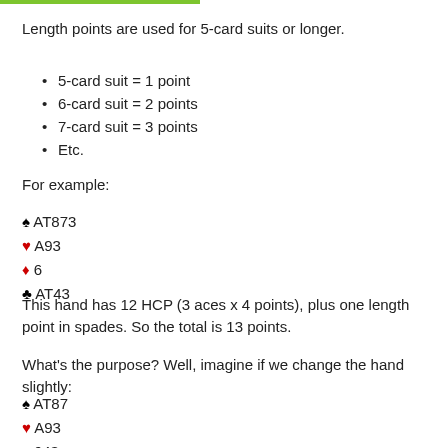Length points are used for 5-card suits or longer.
5-card suit = 1 point
6-card suit = 2 points
7-card suit = 3 points
Etc.
For example:
♠ AT873
♥ A93
♦ 6
♣ AT43
This hand has 12 HCP (3 aces x 4 points), plus one length point in spades. So the total is 13 points.
What's the purpose? Well, imagine if we change the hand slightly:
♠ AT87
♥ A93
♦ 643